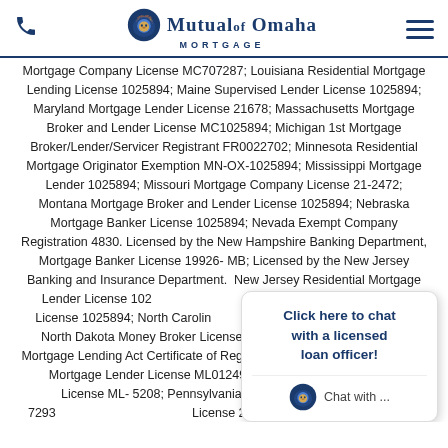Mutual of Omaha Mortgage
Mortgage Company License MC707287; Louisiana Residential Mortgage Lending License 1025894; Maine Supervised Lender License 1025894; Maryland Mortgage Lender License 21678; Massachusetts Mortgage Broker and Lender License MC1025894; Michigan 1st Mortgage Broker/Lender/Servicer Registrant FR0022702; Minnesota Residential Mortgage Originator Exemption MN-OX-1025894; Mississippi Mortgage Lender 1025894; Missouri Mortgage Company License 21-2472; Montana Mortgage Broker and Lender License 1025894; Nebraska Mortgage Banker License 1025894; Nevada Exempt Company Registration 4830. Licensed by the New Hampshire Banking Department, Mortgage Banker License 19926-MB; Licensed by the New Jersey Banking and Insurance Department. New Jersey Residential Mortgage Lender License 1025894; North Carolina Mortgage Loan Company License 1025894; North Carolina Mortgage Loan Company License L-186305; North Dakota Money Broker License MB103310; Ohio Residential Mortgage Lending Act Certificate of Registration RM.804535.000; Oklahoma Mortgage Lender License ML012498; Oregon Mortgage Lending License ML-5208; Pennsylvania Mortgage Lender License 72932; License 20163229LL. Rhode Island Loan Broker License 20163230LB; South Carolina STM Mortgage License / Consumer License ML0-1025894; South Dakota
Click here to chat with a licensed loan officer!
Chat with ...